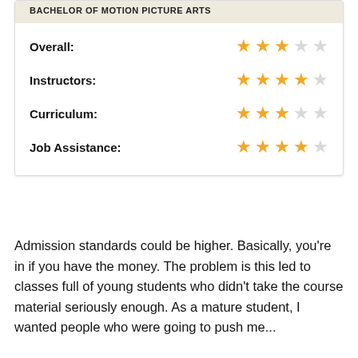BACHELOR OF MOTION PICTURE ARTS
[Figure (other): Star ratings for Overall (3/5), Instructors (4/5), Curriculum (3/5), Job Assistance (4/5)]
Admission standards could be higher. Basically, you're in if you have the money. The problem is this led to classes full of young students who didn't take the course material seriously enough. As a mature student, I wanted people who were going to push me...